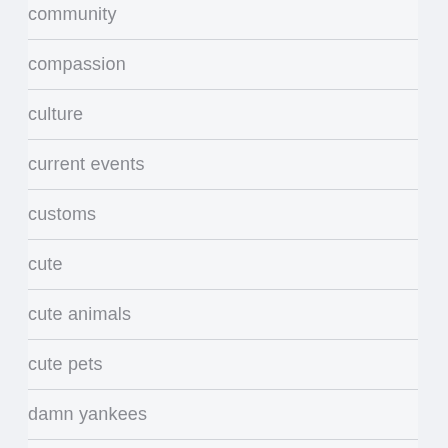community
compassion
culture
current events
customs
cute
cute animals
cute pets
damn yankees